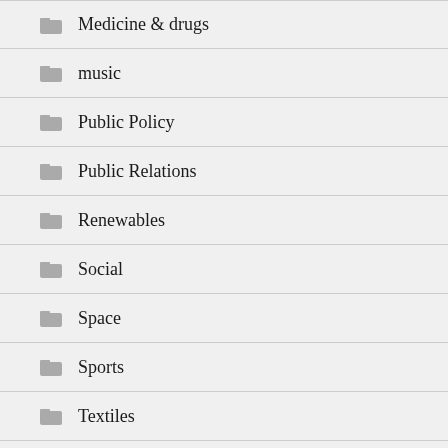Medicine & drugs
music
Public Policy
Public Relations
Renewables
Social
Space
Sports
Textiles
Bath Bombs